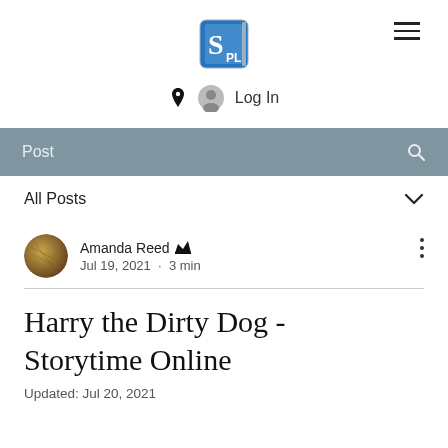SPL library logo and navigation
Log In
Post
All Posts
Amanda Reed  Jul 19, 2021 · 3 min
Harry the Dirty Dog - Storytime Online
Updated: Jul 20, 2021